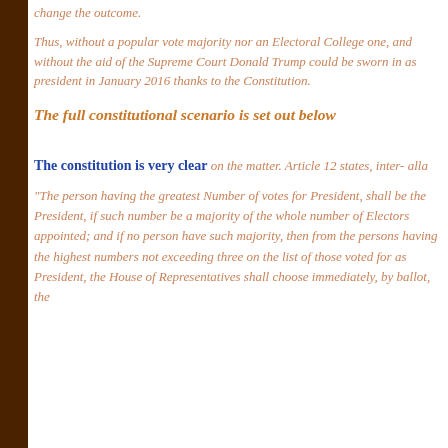change the outcome.
Thus, without a popular vote majority nor an Electoral College one, and without the aid of the Supreme Court Donald Trump could be sworn in as president in January 2016 thanks to the Constitution.
The full constitutional scenario is set out below
The constitution is very clear on the matter. Article 12 states, inter- alla
"The person having the greatest Number of votes for President, shall be the President, if such number be a majority of the whole number of Electors appointed; and if no person have such majority, then from the persons having the highest numbers not exceeding three on the list of those voted for as President, the House of Representatives shall choose immediately, by ballot, the